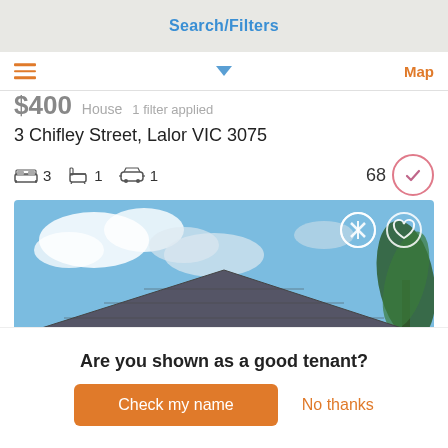Search/Filters
$400  House  1 filter applied
3 Chifley Street, Lalor VIC 3075
3 bedrooms  1 bathroom  1 car  68
[Figure (photo): Front exterior photo of a single-storey brick house with grey tiled roof, windows with decorative brick detailing, and a palm tree on the right side. Blue sky with clouds in background. NBN badge in bottom-left corner.]
Are you shown as a good tenant?
Check my name
No thanks